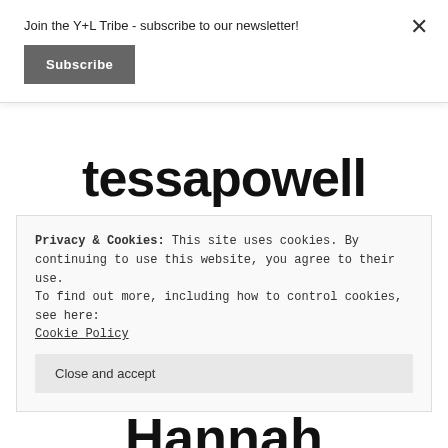Join the Y+L Tribe - subscribe to our newsletter!
Subscribe
tessapowell
27 posts
Privacy & Cookies: This site uses cookies. By continuing to use this website, you agree to their use.
To find out more, including how to control cookies, see here:
Cookie Policy
Close and accept
Hannah